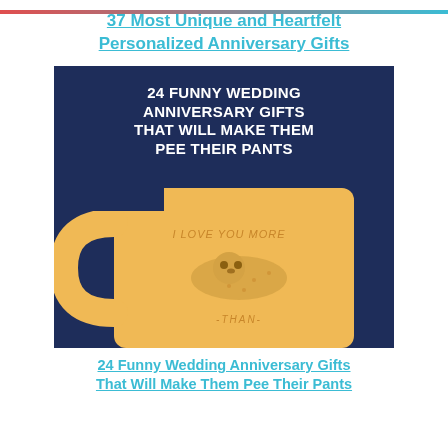37 Most Unique and Heartfelt Personalized Anniversary Gifts
[Figure (photo): Dark navy blue background image with bold white text reading '24 FUNNY WEDDING ANNIVERSARY GIFTS THAT WILL MAKE THEM PEE THEIR PANTS', and a yellow/tan coffee mug with 'I LOVE YOU MORE' and a sloth illustration, partially cropped at bottom.]
24 Funny Wedding Anniversary Gifts That Will Make Them Pee Their Pants